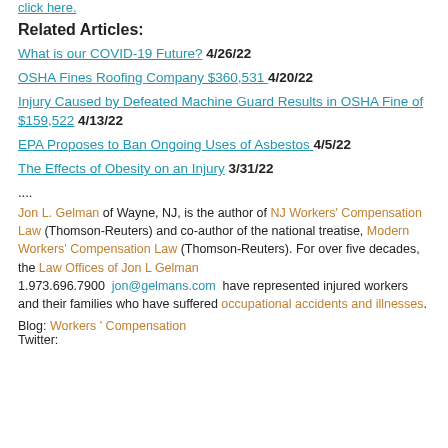click here.
Related Articles:
What is our COVID-19 Future? 4/26/22
OSHA Fines Roofing Company $360,531  4/20/22
Injury Caused by Defeated Machine Guard Results in OSHA Fine of $159,522 4/13/22
EPA Proposes to Ban Ongoing Uses of Asbestos  4/5/22
The Effects of Obesity on an Injury 3/31/22
.... Jon L. Gelman of Wayne, NJ, is the author of NJ Workers' Compensation Law (Thomson-Reuters) and co-author of the national treatise, Modern Workers' Compensation Law (Thomson-Reuters). For over five decades, the Law Offices of Jon L Gelman 1.973.696.7900  jon@gelmans.com  have represented injured workers and their families who have suffered occupational accidents and illnesses.
Blog: Workers' Compensation